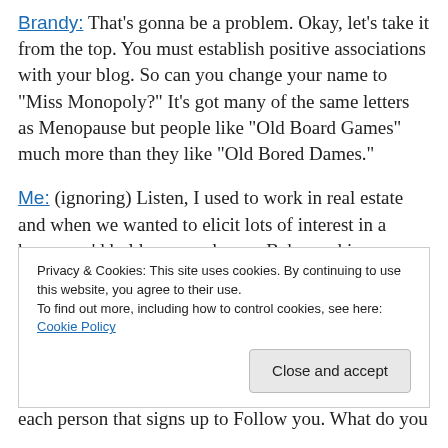Brandy: That's gonna be a problem.  Okay, let's take it from the top.  You must establish positive associations with your blog.  So can you change your name to "Miss Monopoly?"  It's got many of the same letters as Menopause but people like "Old Board Games" much more than they like "Old Bored Dames."
Me: (ignoring)  Listen, I used to work in real estate and when we wanted to elicit lots of interest in a home, we'd hold an open house.  Bake cookies, spray cinnamon fragrance, and tell the owners to put away all the old
Privacy & Cookies: This site uses cookies. By continuing to use this website, you agree to their use. To find out more, including how to control cookies, see here: Cookie Policy
each person that signs up to Follow you.  What do you